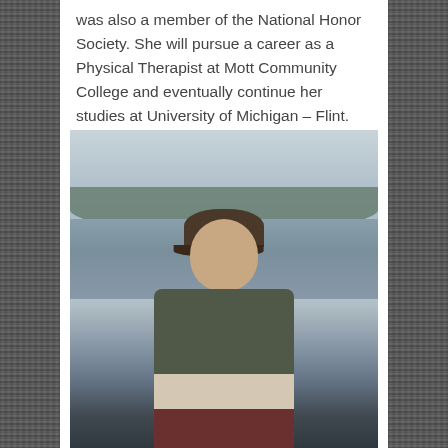was also a member of the National Honor Society. She will pursue a career as a Physical Therapist at Mott Community College and eventually continue her studies at University of Michigan – Flint.
[Figure (photo): Young man smiling outdoors by a large body of water, wearing a brown cap and a dark grey hoodie with a light and dark stripe. Background shows water and a treeline.]